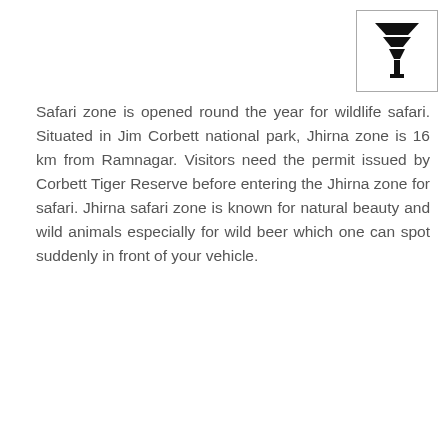[Figure (logo): A stylized logo resembling stacked downward-pointing triangles or funnel shape, in black, inside a bordered box]
Safari zone is opened round the year for wildlife safari. Situated in Jim Corbett national park, Jhirna zone is 16 km from Ramnagar. Visitors need the permit issued by Corbett Tiger Reserve before entering the Jhirna zone for safari. Jhirna safari zone is known for natural beauty and wild animals especially for wild beer which one can spot suddenly in front of your vehicle.